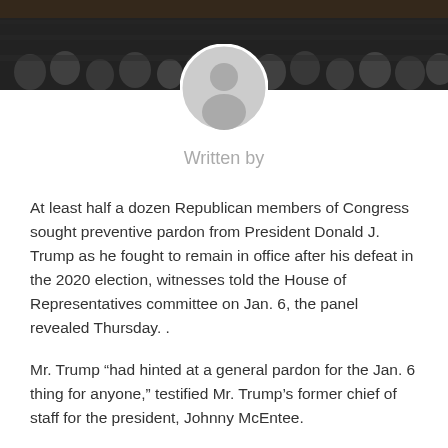[Figure (photo): Dark background photo of a crowd/audience in what appears to be a legislative chamber or hearing room]
[Figure (illustration): Gray circular avatar/profile placeholder icon with a generic person silhouette]
Written by
At least half a dozen Republican members of Congress sought preventive pardon from President Donald J. Trump as he fought to remain in office after his defeat in the 2020 election, witnesses told the House of Representatives committee on Jan. 6, the panel revealed Thursday. .
Mr. Trump “had hinted at a general pardon for the Jan. 6 thing for anyone,” testified Mr. Trump’s former chief of staff for the president, Johnny McEntee.
Representative Matt Gaetz, a Republican from Florida, appeared to be asking for a broad pardon, not limited to his role in Mr. Trump’s efforts to reverse the election